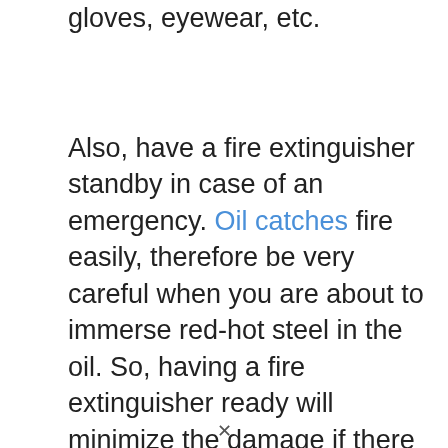gloves, eyewear, etc.
Also, have a fire extinguisher standby in case of an emergency. Oil catches fire easily, therefore be very careful when you are about to immerse red-hot steel in the oil. So, having a fire extinguisher ready will minimize the damage if there is an accident.